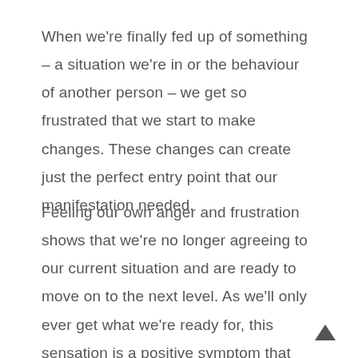When we're finally fed up of something – a situation we're in or the behaviour of another person – we get so frustrated that we start to make changes. These changes can create just the perfect entry point that our manifestation needed.
Feeling our own anger and frustration shows that we're no longer agreeing to our current situation and are ready to move on to the next level. As we'll only ever get what we're ready for, this sensation is a positive symptom that you're ready for the Law of Attraction to work